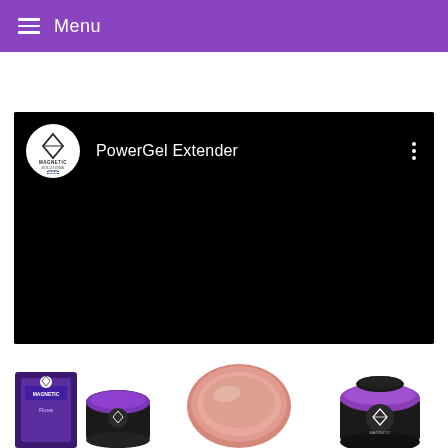Menu
[Figure (screenshot): YouTube-style video embed showing channel logo (Magnetic Solutions UK), title 'PowerGel Extender', three-dot menu icon, on a black background]
[Figure (photo): Three product images at bottom: left shows a Magnetic Solutions product box and jar, center shows an open pink gel disc, right shows a dark jar with purple lid]